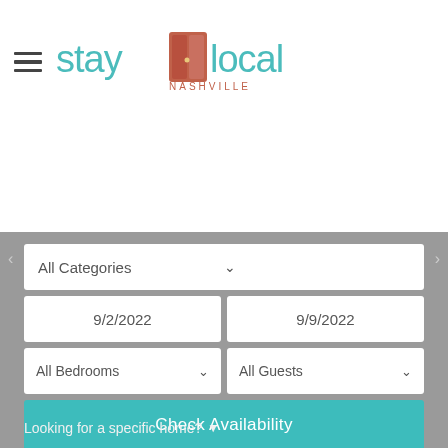[Figure (logo): Stay Local Nashville logo with teal text 'stay local', a red door icon, and 'NASHVILLE' subtitle]
All Categories
9/2/2022
9/9/2022
All Bedrooms
All Guests
Check Availability
Looking for a specific home? ▾